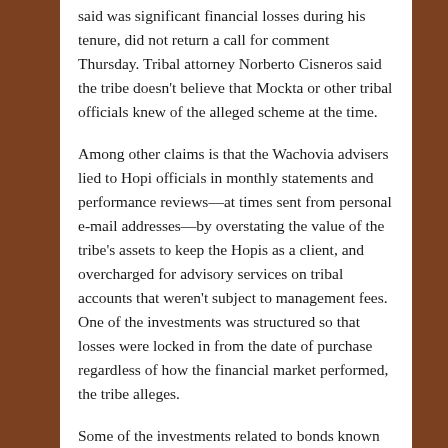said was significant financial losses during his tenure, did not return a call for comment Thursday. Tribal attorney Norberto Cisneros said the tribe doesn't believe that Mockta or other tribal officials knew of the alleged scheme at the time.
Among other claims is that the Wachovia advisers lied to Hopi officials in monthly statements and performance reviews—at times sent from personal e-mail addresses—by overstating the value of the tribe's assets to keep the Hopis as a client, and overcharged for advisory services on tribal accounts that weren't subject to management fees. One of the investments was structured so that losses were locked in from the date of purchase regardless of how the financial market performed, the tribe alleges.
Some of the investments related to bonds known as collateralized debt obligations, or CDOs. The value of the CDOs plummeted after the housing market peaked in 2007, sparking panic that caused the global credit system to...